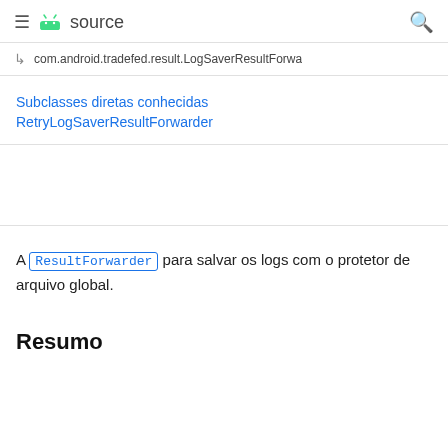≡ 🤖 source 🔍
↳  com.android.tradefed.result.LogSaverResultForwa
Subclasses diretas conhecidas
RetryLogSaverResultForwarder
A ResultForwarder para salvar os logs com o protetor de arquivo global.
Resumo